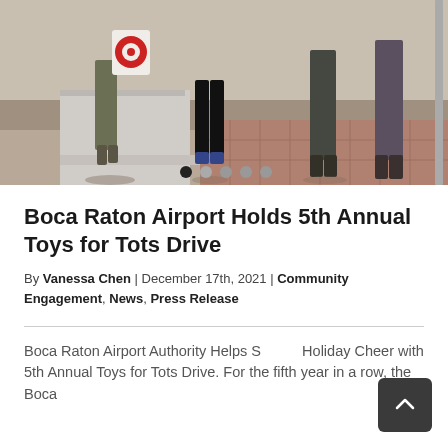[Figure (photo): Outdoor photo showing people standing on a sidewalk/ramp area, one person holding a Target shopping bag. Partial view of legs and feet of multiple individuals.]
Boca Raton Airport Holds 5th Annual Toys for Tots Drive
By Vanessa Chen | December 17th, 2021 | Community Engagement, News, Press Release
Boca Raton Airport Authority Helps Spread Holiday Cheer with 5th Annual Toys for Tots Drive. For the fifth year in a row, the Boca